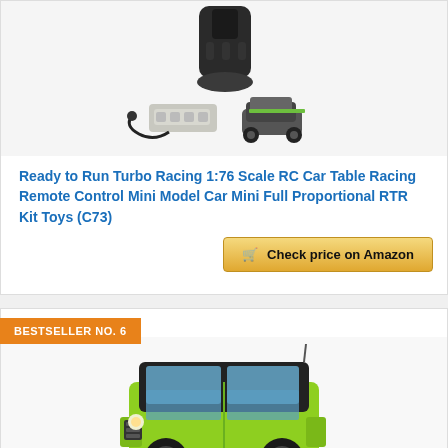[Figure (photo): RC car product photo showing remote controller, small model racing car, and accessories on white background]
Ready to Run Turbo Racing 1:76 Scale RC Car Table Racing Remote Control Mini Model Car Mini Full Proportional RTR Kit Toys (C73)
Check price on Amazon
BESTSELLER NO. 6
[Figure (photo): Bright yellow-green Suzuki Jimny mini 4x4 SUV model car photo]